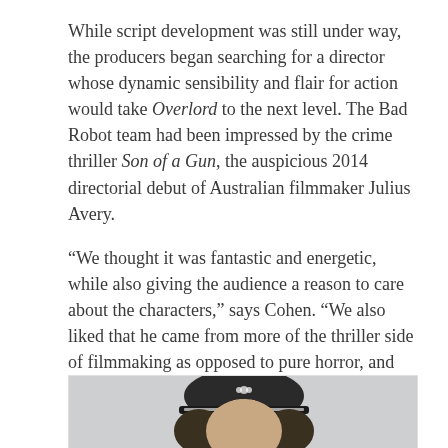While script development was still under way, the producers began searching for a director whose dynamic sensibility and flair for action would take Overlord to the next level. The Bad Robot team had been impressed by the crime thriller Son of a Gun, the auspicious 2014 directorial debut of Australian filmmaker Julius Avery.
“We thought it was fantastic and energetic, while also giving the audience a reason to care about the characters,” says Cohen. “We also liked that he came from more of the thriller side of filmmaking as opposed to pure horror, and would give Overlord the level of grittiness it needed.”
[Figure (photo): Photo of a person wearing a black Adidas cap with long hair, partially visible, cropped at bottom of page]